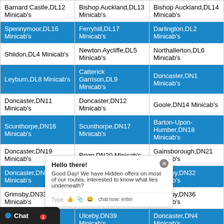| Barnard Castle,DL12 Minicab's | Bishop Auckland,DL13 Minicab's | Bishop Auckland,DL14 Minicab's |
| Spennymoor,DL16 Minicab's | Ferryhill,DL17 Minicab's | Darlington,DL2 Minicab's |
| Shildon,DL4 Minicab's | Newton Aycliffe,DL5 Minicab's | Northallerton,DL6 Minicab's |
| Leyburn,DL8 Minicab's | Catterick Garrison,DL9 Minicab's | Doncaster,DN1 Minicab's |
| Doncaster,DN11 Minicab's | Doncaster,DN12 Minicab's | Goole,DN14 Minicab's |
| Scunthorpe,DN16 Minicab's | Scunthorpe,DN17 Minicab's | Barton-Upon-Humber,DN18 Minicab's |
| Doncaster,DN19 Minicab's | Brigg,DN20 Minicab's | Gainsborough,DN21 Minicab's |
| Doncaster,DN3 Minicab's | Grimsby,DN31 Minicab's | Grimsby,DN32 Minicab's |
| Grimsby,DN33 Minicab's | Cleethorpes,DN35 Minicab's | Grimsby,DN36 Minicab's |
| Grimsby,DN38 Minicab's | Ulceby,DN39 Minicab's | Doncaster,DN4 Minicab's |